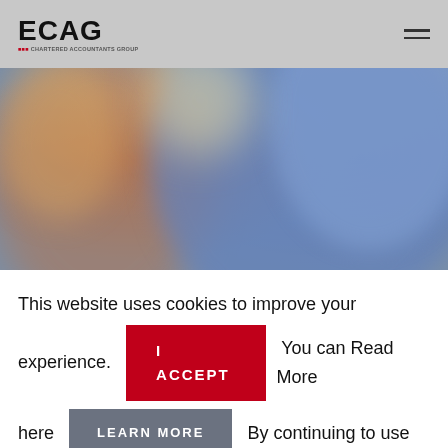[Figure (logo): ECAG logo — black bold text 'ECAG' with red accent, subtitle 'Erdmann Chartered Accountants Group']
[Figure (photo): Blurred close-up photo showing a person in a blue textured sweater/jacket, warm blurred background with orange and gold tones on left]
This website uses cookies to improve your experience. I ACCEPT You can Read More here LEARN MORE By continuing to use this site you are giving us your consent to do this